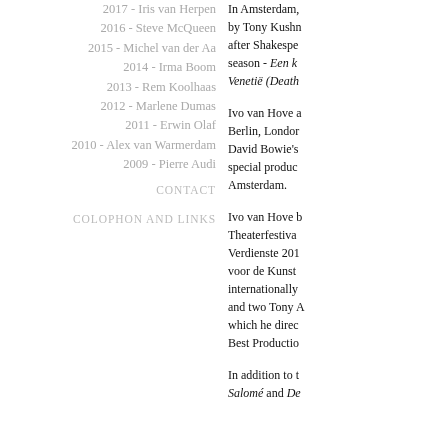2017 - Iris van Herpen
2016 - Steve McQueen
2015 - Michel van der Aa
2014 - Irma Boom
2013 - Rem Koolhaas
2012 - Marlene Dumas
2011 - Erwin Olaf
2010 - Alex van Warmerdam
2009 - Pierre Audi
CONTACT
COLOPHON AND LINKS
In Amsterdam, by Tony Kushr after Shakespeare season - Een k Venetië (Death
Ivo van Hove a Berlin, London David Bowie's special produc Amsterdam.
Ivo van Hove b Theaterfestiva Verdienste 201 voor de Kunst internationally and two Tony A which he direc Best Productio
In addition to t Salomé and De